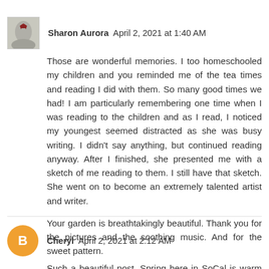Sharon Aurora  April 2, 2021 at 1:40 AM
Those are wonderful memories. I too homeschooled my children and you reminded me of the tea times and reading I did with them. So many good times we had! I am particularly remembering one time when I was reading to the children and as I read, I noticed my youngest seemed distracted as she was busy writing. I didn't say anything, but continued reading anyway. After I finished, she presented me with a sketch of me reading to them. I still have that sketch. She went on to become an extremely talented artist and writer.
Your garden is breathtakingly beautiful. Thank you for the pictures and the soothing music. And for the sweet pattern.
Reply
Cheryl  April 2, 2021 at 2:12 AM
Such a beautiful post. Spring here in SoCal is warm and